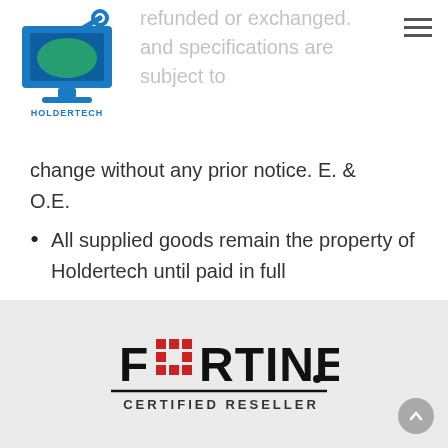[Figure (logo): Holdertech logo: blue computer monitor with wrench and text HOLDERTECH]
refunded or exchanged. and specifications are subject to change without any prior notice. E. & O.E.
All supplied goods remain the property of Holdertech until paid in full
[Figure (logo): Fortinet Certified Reseller logo]